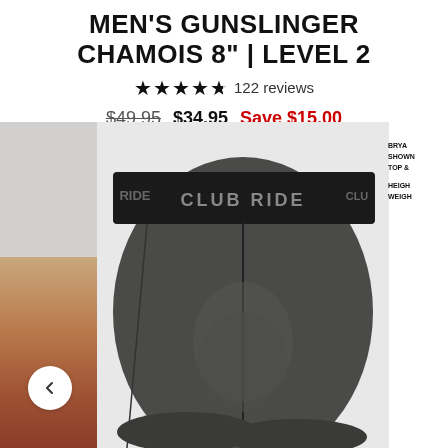MEN'S GUNSLINGER CHAMOIS 8" | LEVEL 2
★★★★½ 122 reviews
$49.95  $34.95  Save $15.00
[Figure (photo): Men's cycling chamois shorts by Club Ride, shown from the front/side. Dark charcoal grey fabric with black waistband labeled CLUB RIDE. Left sidebar shows partial image with colored background.]
BRYA SHOW TOP & HEIGHT WEIGH